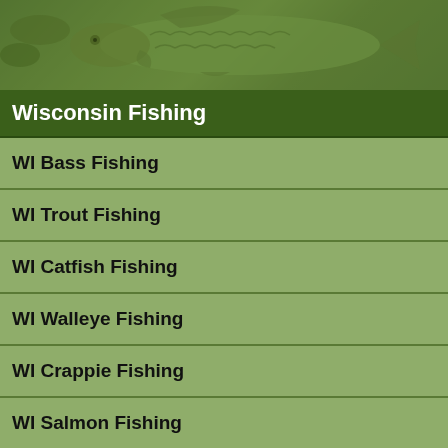[Figure (illustration): Decorative green banner with fish illustration in muted olive green tones]
Wisconsin Fishing
WI Bass Fishing
WI Trout Fishing
WI Catfish Fishing
WI Walleye Fishing
WI Crappie Fishing
WI Salmon Fishing
WI Sunfish Fishing